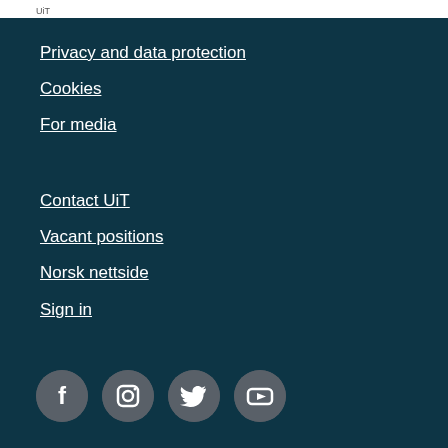UiT
Privacy and data protection
Cookies
For media
Contact UiT
Vacant positions
Norsk nettside
Sign in
[Figure (infographic): Social media icons: Facebook, Instagram, Twitter, YouTube — white icons on gray circles with dark teal background]